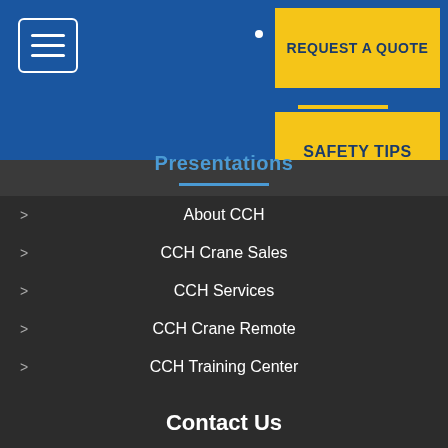[Figure (screenshot): Blue navigation header with hamburger menu icon on left, bullet dot, and yellow 'REQUEST A QUOTE' button on top right, yellow 'SAFETY TIPS' button below it, and a yellow underline accent]
Presentations
About CCH
CCH Crane Sales
CCH Services
CCH Crane Remote
CCH Training Center
CCH Media Kit
Contact Us